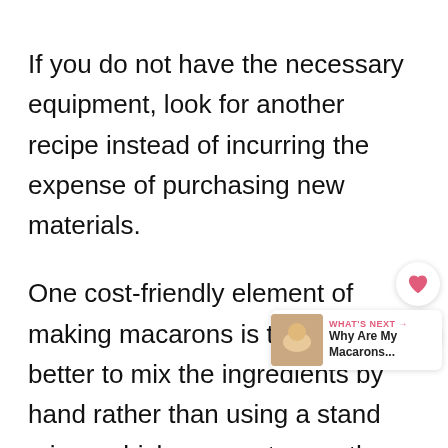If you do not have the necessary equipment, look for another recipe instead of incurring the expense of purchasing new materials.
One cost-friendly element of making macarons is that it is better to mix the ingredients by hand rather than using a stand mixer, which can cost more than $300.
Finally, if you are new at cooking